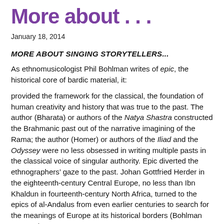More about . . .
January 18, 2014
MORE ABOUT SINGING STORYTELLERS...
As ethnomusicologist Phil Bohlman writes of epic, the historical core of bardic material, it:
provided the framework for the classical, the foundation of human creativity and history that was true to the past. The author (Bharata) or authors of the Natya Shastra constructed the Brahmanic past out of the narrative imagining of the Rama; the author (Homer) or authors of the Iliad and the Odyssey were no less obsessed in writing multiple pasts in the classical voice of singular authority. Epic diverted the ethnographers’ gaze to the past. Johan Gottfried Herder in the eighteenth-century Central Europe, no less than Ibn Khaldun in fourteenth-century North Africa, turned to the epics of al-Andalus from even earlier centuries to search for the meanings of Europe at its historical borders (Bohlman 2013: 1.)